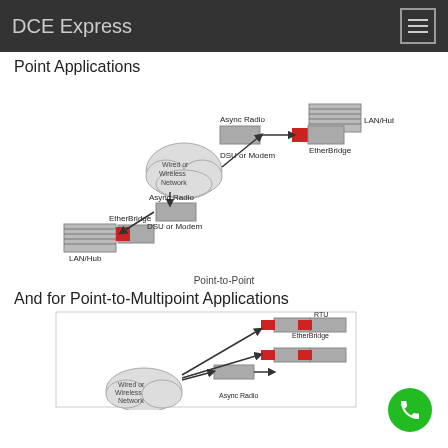DCE Express
Point Applications
[Figure (network-graph): Point-to-Point network diagram showing two LAN/Hub endpoints each connected to an EtherBridge and Async Radio DSU or Modem, linked through a Wired or Wireless Network cloud in the center.]
Point-to-Point
And for Point-to-Multipoint Applications
[Figure (network-graph): Point-to-Multipoint network diagram showing multiple RTU/EtherBridge units and Async Radio devices connected through a Wired or Wireless Network cloud.]